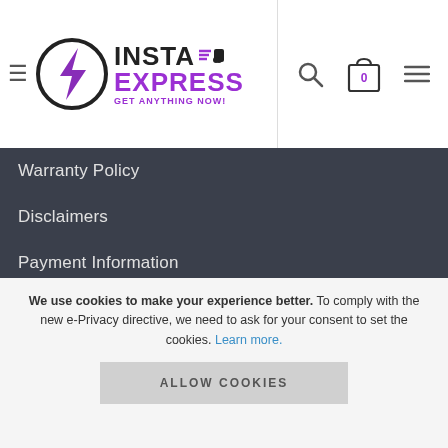[Figure (logo): InstaExpress logo with lightning bolt icon and tagline GET ANYTHING NOW!]
Warranty Policy
Disclaimers
Payment Information
Vendor Login
MY ACCOUNT
My personal info
We use cookies to make your experience better. To comply with the new e-Privacy directive, we need to ask for your consent to set the cookies. Learn more.
ALLOW COOKIES